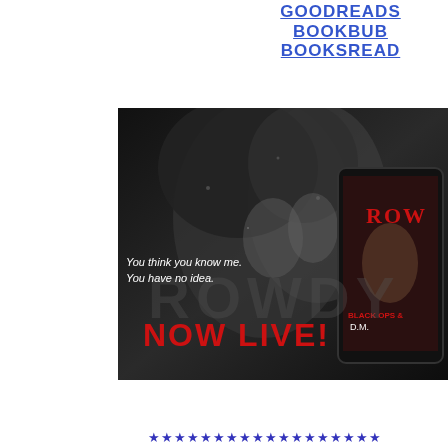GOODREADS
BOOKBUB
BOOKSREAD
[Figure (photo): Promotional book banner image for 'ROWDY' by D.M. showing a dramatic black and white close-up of two people about to kiss, with text overlay 'You think you know me. You have no idea.' and 'NOW LIVE!' in red letters, plus a tablet showing the book cover on the right side.]
★ ★ ★ ★ ★ ★ ★ ★ ★ ★ ★ ★ ★ ★ ★ ★ ★ ★